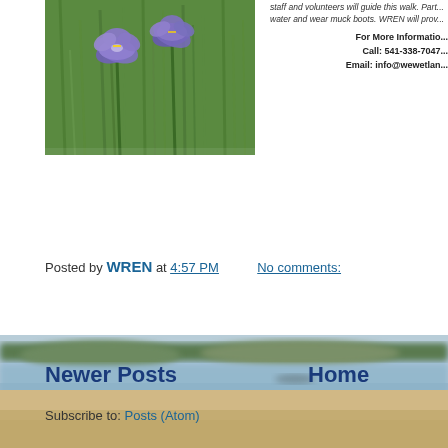[Figure (photo): Purple iris or blue-eyed grass flowers with green stems and grass in background]
staff and volunteers will guide this walk. Part... water and wear muck boots. WREN will prov...
For More Information:
Call: 541-338-7047
Email: info@wewetland...
Posted by WREN at 4:57 PM    No comments:
Newer Posts
Home
Subscribe to: Posts (Atom)
[Figure (photo): Blurred background landscape photo showing a lake or river with sandy shore and trees in the distance]